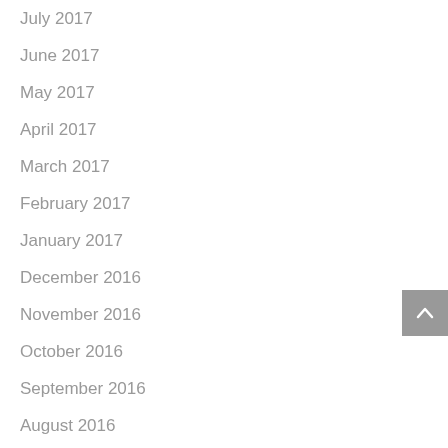July 2017
June 2017
May 2017
April 2017
March 2017
February 2017
January 2017
December 2016
November 2016
October 2016
September 2016
August 2016
July 2016